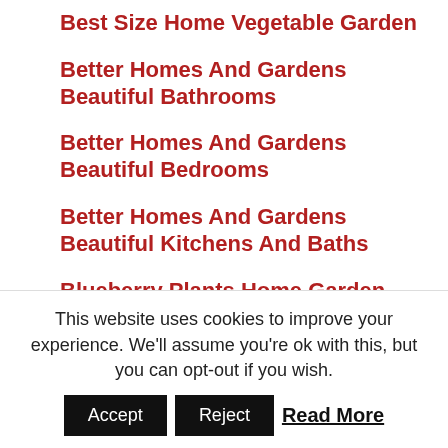Best Size Home Vegetable Garden
Better Homes And Gardens Beautiful Bathrooms
Better Homes And Gardens Beautiful Bedrooms
Better Homes And Gardens Beautiful Kitchens And Baths
Blueberry Plants Home Garden
Children'S Home Garden Tools
Common Home Garden Plants
Easy Home Garden Plants
This website uses cookies to improve your experience. We'll assume you're ok with this, but you can opt-out if you wish.